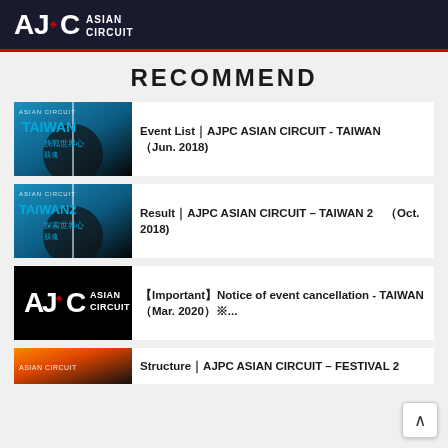AJPC ASIAN CIRCUIT
RECOMMEND
Event List｜AJPC ASIAN CIRCUIT - TAIWAN （Jun. 2018)
Result｜AJPC ASIAN CIRCUIT – TAIWAN 2（Oct. 2018)
【Important】Notice of event cancellation - TAIWAN（Mar. 2020）※...
Structure｜AJPC ASIAN CIRCUIT – FESTIVAL 2